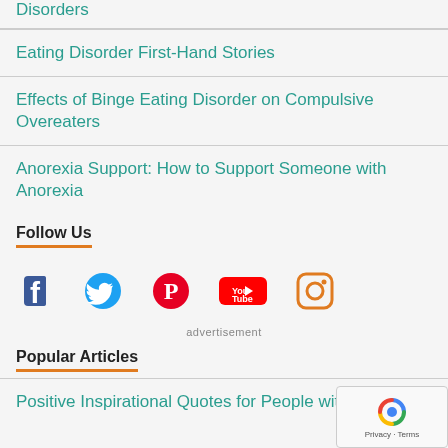Disorders
Eating Disorder First-Hand Stories
Effects of Binge Eating Disorder on Compulsive Overeaters
Anorexia Support: How to Support Someone with Anorexia
Follow Us
[Figure (infographic): Social media icons row: Facebook, Twitter, Pinterest, YouTube, Instagram]
advertisement
Popular Articles
Positive Inspirational Quotes for People with Depr...